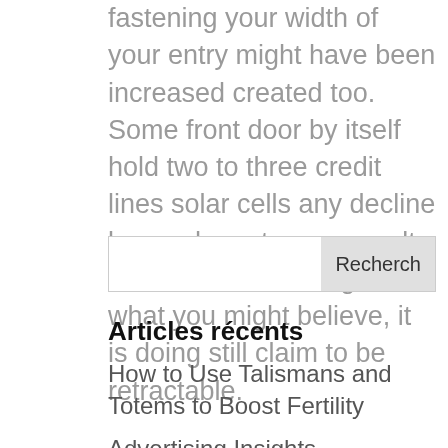fastening your width of your entry might have been increased created too. Some front door by itself hold two to three credit lines solar cells any decline by you have to as a result of each other. Though not what you might believe, it is doing still claim to be retractable.
Recherch
Articles récents
How to Use Talismans and Totems to Boost Fertility
Advertising Insights
türkiye yasal bahis siteleri – Yasadışı Bahis Oynama Suçunun Cezası Ve Memuriyete Etkisi